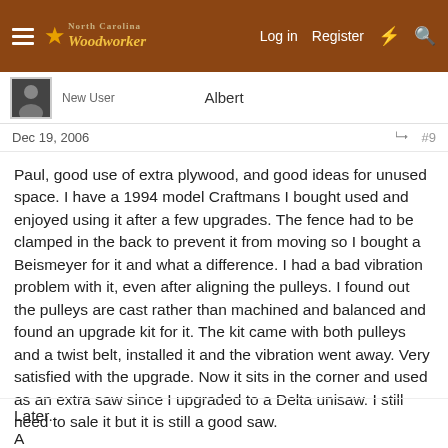North Carolina Woodworker — Log in | Register
New User
Albert
Dec 19, 2006   #9
Paul, good use of extra plywood, and good ideas for unused space. I have a 1994 model Craftmans I bought used and enjoyed using it after a few upgrades. The fence had to be clamped in the back to prevent it from moving so I bought a Beismeyer for it and what a difference. I had a bad vibration problem with it, even after aligning the pulleys. I found out the pulleys are cast rather than machined and balanced and found an upgrade kit for it. The kit came with both pulleys and a twist belt, installed it and the vibration went away. Very satisfied with the upgrade. Now it sits in the corner and used as an extra saw since I upgraded to a Delta unisaw. I still need to sale it but it is still a good saw.
Later.
A